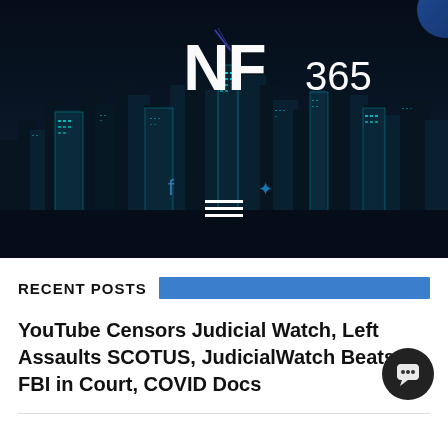[Figure (screenshot): NF365 website header with dark nighttime city skyline background, teal/cyan-lit skyscrapers, logo 'NF365' in white bold text at top center, hamburger menu icon at bottom center]
RECENT POSTS
YouTube Censors Judicial Watch, Left Assaults SCOTUS, JudicialWatch Beats FBI in Court, COVID Docs